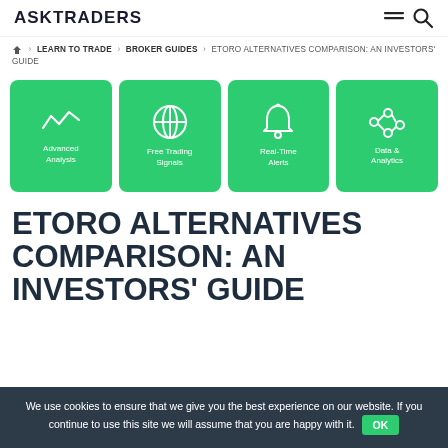ASKTRADERS
🏠 > LEARN TO TRADE > BROKER GUIDES > ETORO ALTERNATIVES COMPARISON: AN INVESTORS' GUIDE
[Figure (infographic): Four green rounded-corner boxes with white icons: Advanced Analysis (waveform icon), Free Trading Signals (globe icon), Real-Time Alerts (bell icon), Data & Analytics (network/analytics icon)]
ETORO ALTERNATIVES COMPARISON: AN INVESTORS' GUIDE
We use cookies to ensure that we give you the best experience on our website. If you continue to use this site we will assume that you are happy with it. OK